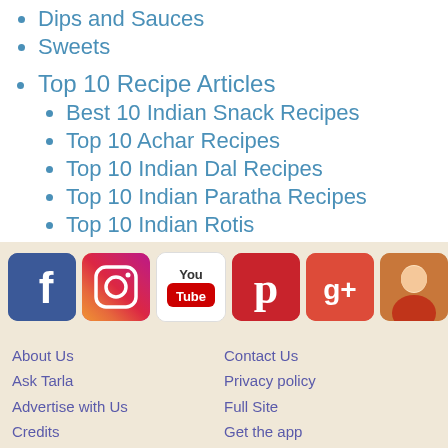Dips and Sauces
Sweets
Top 10 Recipe Articles
Best 10 Indian Snack Recipes
Top 10 Achar Recipes
Top 10 Indian Dal Recipes
Top 10 Indian Paratha Recipes
Top 10 Indian Rotis
[Figure (logo): Social media icons: Facebook, Instagram, YouTube, Pinterest, Google+, and a profile photo]
About Us | Ask Tarla | Advertise with Us | Credits | Corporate Deals | Hindi Recipe Site | Gujarati Recipe Site | Recipe Videos | Contact Us | Privacy policy | Full Site | Get the app | Join Associate Program | My Cookbooks | Latest Recipe Articles